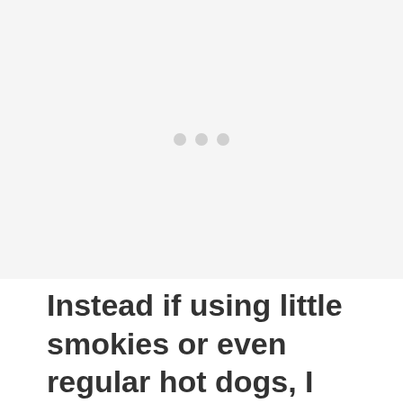[Figure (other): Large empty light gray image area with three small light gray dots centered in the middle, suggesting a loading or placeholder image.]
Instead if using little smokies or even regular hot dogs, I recommend using jumbo franks when making pigs in a